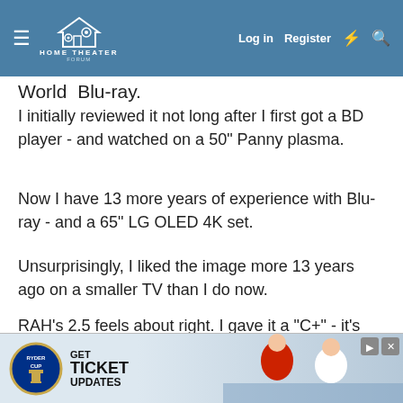Home Theater Forum — Log in | Register
World Blu-ray.
I initially reviewed it not long after I first got a BD player - and watched on a 50" Panny plasma.
Now I have 13 more years of experience with Blu-ray - and a 65" LG OLED 4K set.
Unsurprisingly, I liked the image more 13 years ago on a smaller TV than I do now.
RAH's 2.5 feels about right. I gave it a "C+" - it's perfectly watchable but clearly could use a new master.
Capt D McMars
[Figure (screenshot): Advertisement banner for Ryder Cup ticket updates with golf players in action]